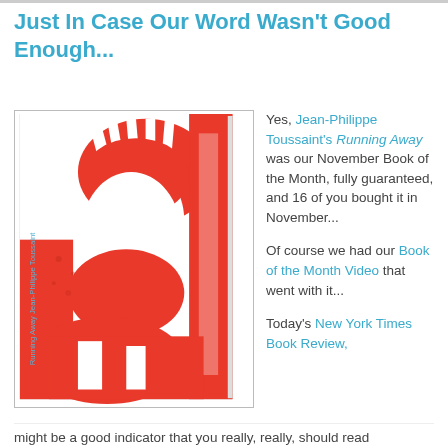Just In Case Our Word Wasn't Good Enough...
[Figure (illustration): Book cover of 'Running Away' by Jean-Philippe Toussaint — red and white graphic illustration of a face/figure, with the title and author name printed vertically on the spine]
Yes, Jean-Philippe Toussaint's Running Away was our November Book of the Month, fully guaranteed, and 16 of you bought it in November...

Of course we had our Book of the Month Video that went with it...

Today's New York Times Book Review,
might be a good indicator that you really, really, should read